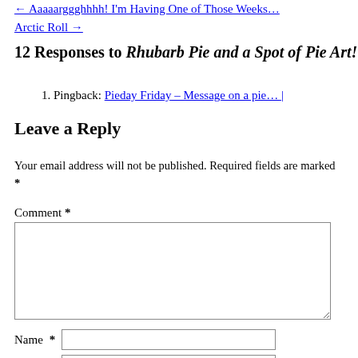← Aaaaarggghhhh! I'm Having One of Those Weeks… Arctic Roll →
12 Responses to Rhubarb Pie and a Spot of Pie Art!
1. Pingback: Pieday Friday – Message on a pie… |
Leave a Reply
Your email address will not be published. Required fields are marked *
Comment *
Name *
Email *